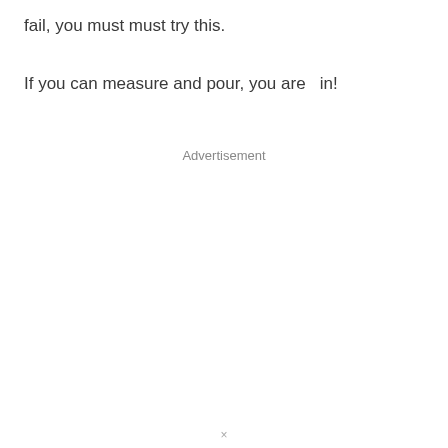fail, you must must try this.
If you can measure and pour, you are  in!
Advertisement
×